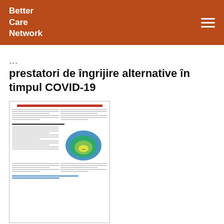Better Care Network
... prestatori de îngrijire alternative în timpul COVID-19
[Figure (other): Thumbnail preview of a document page with text and a nested concentric circle diagram in blue and green]
… familii și prestatori de îngrijire alternative în timpul COVID-19 Ghid de program: sprijin preventiv și receptiv … familii și prestatori de îngrijire alternative în timpul COVID-19 Changing the Way We